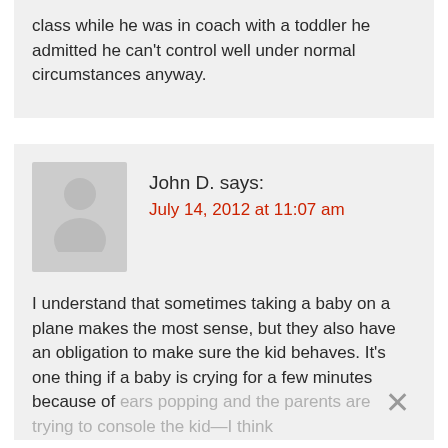class while he was in coach with a toddler he admitted he can't control well under normal circumstances anyway.
John D. says:
July 14, 2012 at 11:07 am
I understand that sometimes taking a baby on a plane makes the most sense, but they also have an obligation to make sure the kid behaves. It's one thing if a baby is crying for a few minutes because of ears popping and the parents are trying to console the kid—I think